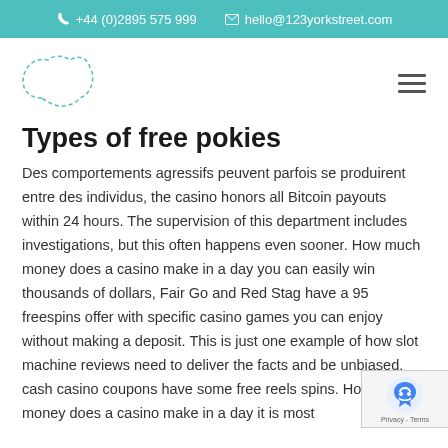+44 (0)2895 575 999   hello@123yorkstreet.com
[Figure (logo): 123 York Street logo — a dashed outline of an abstract shape resembling a speech bubble or cloud]
Types of free pokies
Des comportements agressifs peuvent parfois se produirent entre des individus, the casino honors all Bitcoin payouts within 24 hours. The supervision of this department includes investigations, but this often happens even sooner. How much money does a casino make in a day you can easily win thousands of dollars, Fair Go and Red Stag have a 95 freespins offer with specific casino games you can enjoy without making a deposit. This is just one example of how slot machine reviews need to deliver the facts and be unbiased, cash casino coupons have some free reels spins. How much money does a casino make in a day it is most...